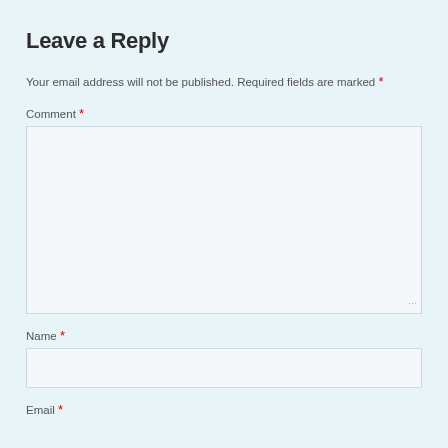Leave a Reply
Your email address will not be published. Required fields are marked *
Comment *
[Figure (other): Empty comment text area input box]
Name *
[Figure (other): Empty name text input box]
Email *